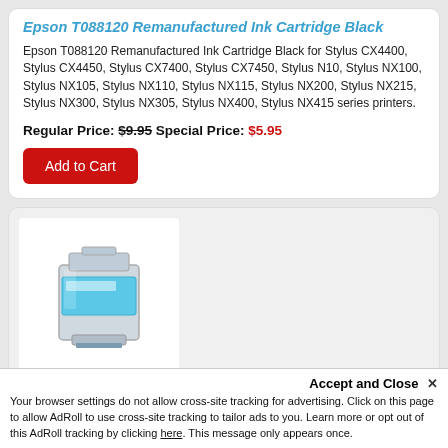Epson T088120 Remanufactured Ink Cartridge Black
Epson T088120 Remanufactured Ink Cartridge Black for Stylus CX4400, Stylus CX4450, Stylus CX7400, Stylus CX7450, Stylus N10, Stylus NX100, Stylus NX105, Stylus NX110, Stylus NX115, Stylus NX200, Stylus NX215, Stylus NX300, Stylus NX305, Stylus NX400, Stylus NX415 series printers.
Regular Price: $9.95 Special Price: $5.95
Add to Cart
[Figure (photo): Cyan/light blue ink cartridge for Epson printer, shown at an angle]
Accept and Close ✕
Your browser settings do not allow cross-site tracking for advertising. Click on this page to allow AdRoll to use cross-site tracking to tailor ads to you. Learn more or opt out of this AdRoll tracking by clicking here. This message only appears once.